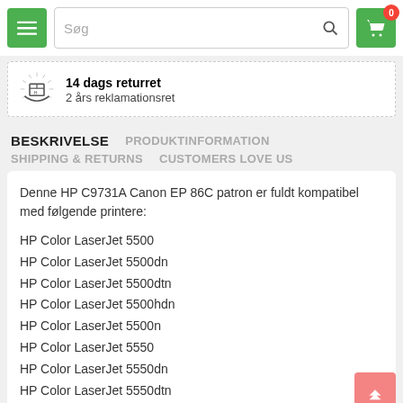Søg
14 dags returret
2 års reklamationsret
BESKRIVELSE   PRODUKTINFORMATION   SHIPPING & RETURNS   CUSTOMERS LOVE US
Denne HP C9731A Canon EP 86C patron er fuldt kompatibel med følgende printere:
HP Color LaserJet 5500
HP Color LaserJet 5500dn
HP Color LaserJet 5500dtn
HP Color LaserJet 5500hdn
HP Color LaserJet 5500n
HP Color LaserJet 5550
HP Color LaserJet 5550dn
HP Color LaserJet 5550dtn